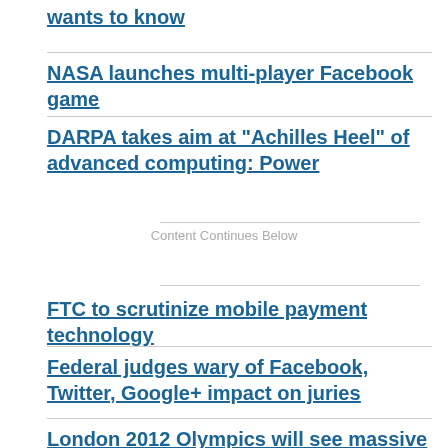wants to know
NASA launches multi-player Facebook game
DARPA takes aim at "Achilles Heel" of advanced computing: Power
Content Continues Below
FTC to scrutinize mobile payment technology
Federal judges wary of Facebook, Twitter, Google+ impact on juries
London 2012 Olympics will see massive wireless spectrum consumption